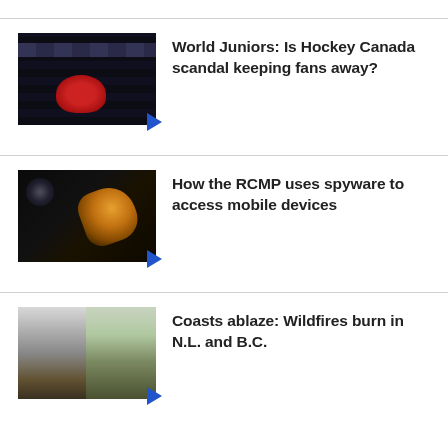[Figure (photo): Dark background with hockey players in red Canada jerseys and a scoreboard; thumbnail for a news video]
World Juniors: Is Hockey Canada scandal keeping fans away?
[Figure (photo): Dark background with a hand holding a smartphone; thumbnail for a news video]
How the RCMP uses spyware to access mobile devices
[Figure (photo): Wildfire smoke billowing over a landscape with split image showing smoke cloud and burning terrain; thumbnail for a news video]
Coasts ablaze: Wildfires burn in N.L. and B.C.